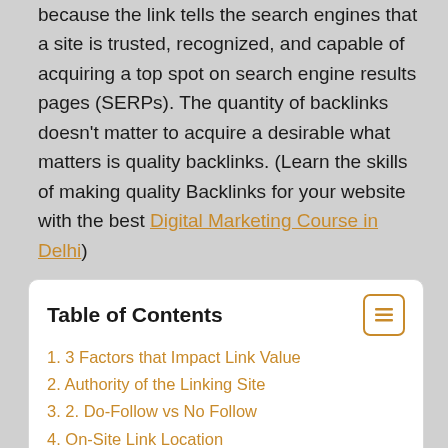because the link tells the search engines that a site is trusted, recognized, and capable of acquiring a top spot on search engine results pages (SERPs). The quantity of backlinks doesn't matter to acquire a desirable what matters is quality backlinks. (Learn the skills of making quality Backlinks for your website with the best Digital Marketing Course in Delhi)
Table of Contents
1. 3 Factors that Impact Link Value
2. Authority of the Linking Site
3. 2. Do-Follow vs No Follow
4. On-Site Link Location
5. 1. Editorial Backlinks
6. 2. Guest Blogging Backlinks
7. 3. Business Profile Backlinks